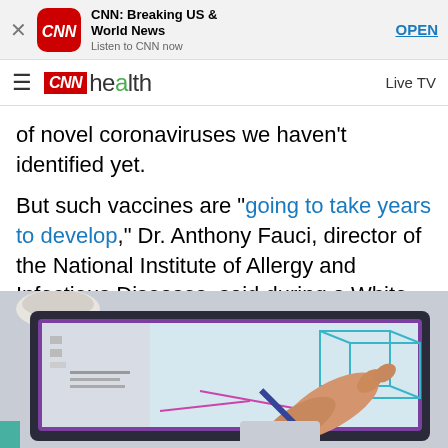[Figure (screenshot): App store banner for CNN: Breaking US & World News app with red CNN icon, app title, subtitle 'Listen to CNN now', and OPEN button]
[Figure (screenshot): CNN Health navigation bar with hamburger menu, CNN Health logo, and Live TV link]
of novel coronaviruses we haven't identified yet.
But such vaccines are "going to take years to develop," Dr. Anthony Fauci, director of the National Institute of Allergy and Infectious Diseases, said during a White House briefing on Wednesday.
[Figure (photo): Photo of hands using a stylus on a tablet device with diagrams on screen, a coffee cup in background]